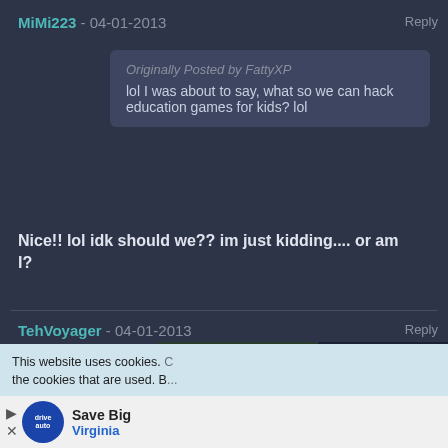MiMi223 - 04-01-2013   Reply
Originally Posted by FattyXP
lol I was about to say, what so we can hack education games for kids? lol
Nice!! lol idk should we?? im just kidding.... or am I?
TehVoyager - 04-01-2013   Reply
Obvious troll was obvious 0/10
pinny -
[Figure (screenshot): Video ad popup: Julio Rodriguez's MASSIVE extension - Japan Series video with mute button, showing baseball player in Mariners jersey]
This website uses cookies. the cookies that are used. B...
Save Big Virginia  - advertisement banner with auto logo